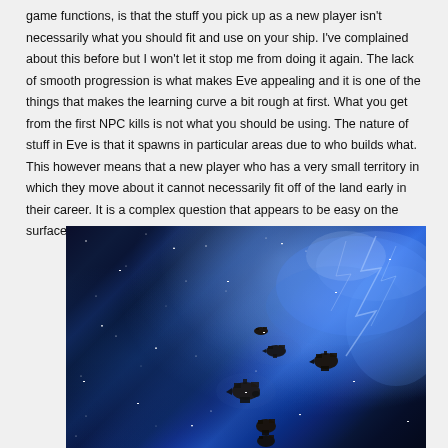game functions, is that the stuff you pick up as a new player isn't necessarily what you should fit and use on your ship. I've complained about this before but I won't let it stop me from doing it again. The lack of smooth progression is what makes Eve appealing and it is one of the things that makes the learning curve a bit rough at first. What you get from the first NPC kills is not what you should be using. The nature of stuff in Eve is that it spawns in particular areas due to who builds what. This however means that a new player who has a very small territory in which they move about it cannot necessarily fit off of the land early in their career. It is a complex question that appears to be easy on the surface and one that I do not have an instant answer for.
[Figure (photo): Screenshot from EVE Online showing spaceships flying through a nebula in deep space with blue glowing clouds and asteroid-like dark ship silhouettes]